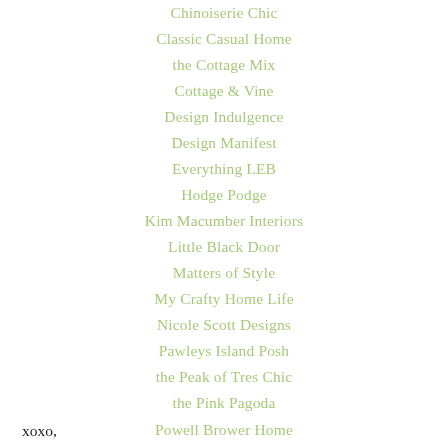Chinoiserie Chic
Classic Casual Home
the Cottage Mix
Cottage & Vine
Design Indulgence
Design Manifest
Everything LEB
Hodge Podge
Kim Macumber Interiors
Little Black Door
Matters of Style
My Crafty Home Life
Nicole Scott Designs
Pawleys Island Posh
the Peak of Tres Chic
the Pink Pagoda
Powell Brower Home
Simple Details
xoxo,